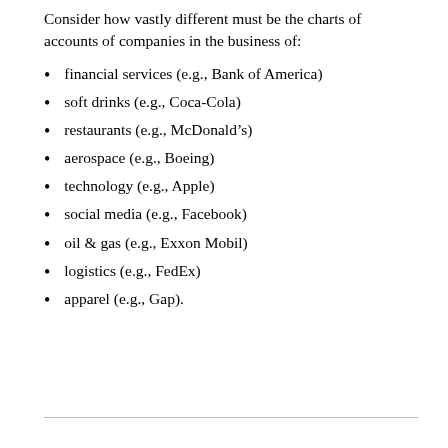Consider how vastly different must be the charts of accounts of companies in the business of:
financial services (e.g., Bank of America)
soft drinks (e.g., Coca-Cola)
restaurants (e.g., McDonald’s)
aerospace (e.g., Boeing)
technology (e.g., Apple)
social media (e.g., Facebook)
oil & gas (e.g., Exxon Mobil)
logistics (e.g., FedEx)
apparel (e.g., Gap).